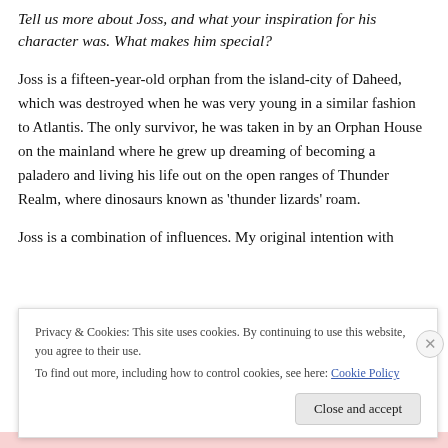Tell us more about Joss, and what your inspiration for his character was. What makes him special?
Joss is a fifteen-year-old orphan from the island-city of Daheed, which was destroyed when he was very young in a similar fashion to Atlantis. The only survivor, he was taken in by an Orphan House on the mainland where he grew up dreaming of becoming a paladero and living his life out on the open ranges of Thunder Realm, where dinosaurs known as 'thunder lizards' roam.
Joss is a combination of influences. My original intention with
Privacy & Cookies: This site uses cookies. By continuing to use this website, you agree to their use.
To find out more, including how to control cookies, see here: Cookie Policy